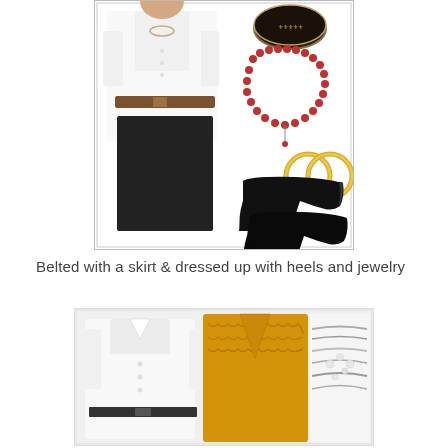[Figure (illustration): Fashion collage showing a woman in a white button-down shirt with a brown belt and black pencil skirt, alongside accessories: a dark bangle bracelet, red beaded necklace, gold hoop earrings, and black peep-toe high heels.]
Belted with a skirt & dressed up with heels and jewelry
[Figure (illustration): Fashion collage showing a white button-down shirt, a mustard/yellow ruffled cardigan, a dark belt, and a layered silver chain necklace.]